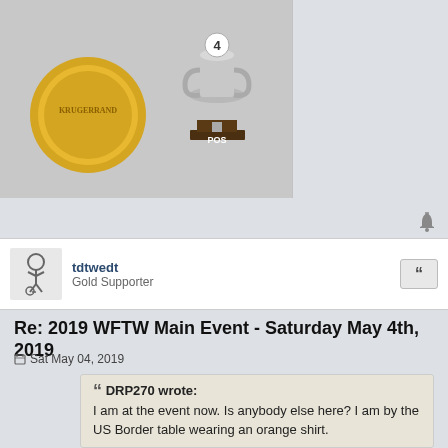[Figure (photo): Top image strip showing a gold Krugerrand coin and trophy with number 4 and POS label on the left, and USD 3 text with burning money imagery on the right]
[Figure (illustration): Notification bell icon in gray]
tdtwedt
Gold Supporter
Re: 2019 WFTW Main Event - Saturday May 4th, 2019
Sat May 04, 2019
DRP270 wrote:
I am at the event now. Is anybody else here? I am by the US Border table wearing an orange shirt.
[Figure (photo): Photo of an orange long-sleeve shirt with the word ORANGE printed in white on the front]